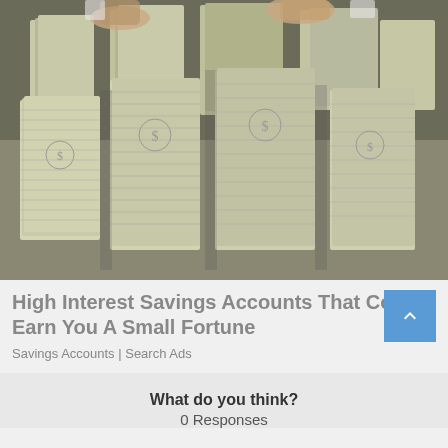[Figure (photo): Photo of large piles of bundled US dollar bills stacked on a table, with hands visible at the top holding more stacks of cash.]
High Interest Savings Accounts That Could Earn You A Small Fortune
Savings Accounts | Search Ads
What do you think?
0 Responses